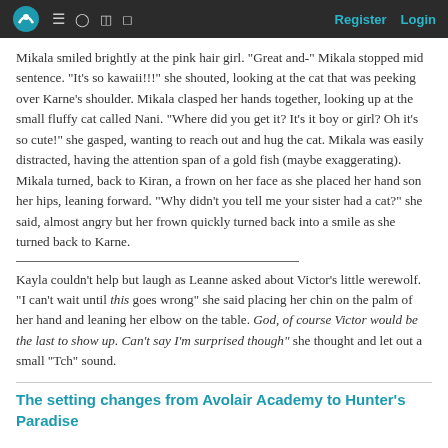Register Login
Mikala smiled brightly at the pink hair girl. "Great and-" Mikala stopped mid sentence. "It's so kawaii!!!" she shouted, looking at the cat that was peeking over Karne's shoulder. Mikala clasped her hands together, looking up at the small fluffy cat called Nani. "Where did you get it? It's it boy or girl? Oh it's so cute!" she gasped, wanting to reach out and hug the cat. Mikala was easily distracted, having the attention span of a gold fish (maybe exaggerating). Mikala turned, back to Kiran, a frown on her face as she placed her hand son her hips, leaning forward. "Why didn't you tell me your sister had a cat?" she said, almost angry but her frown quickly turned back into a smile as she turned back to Karne.
Kayla couldn't help but laugh as Leanne asked about Victor's little werewolf. "I can't wait until this goes wrong" she said placing her chin on the palm of her hand and leaning her elbow on the table. God, of course Victor would be the last to show up. Can't say I'm surprised though" she thought and let out a small "Tch" sound.
The setting changes from Avolair Academy to Hunter's Paradise